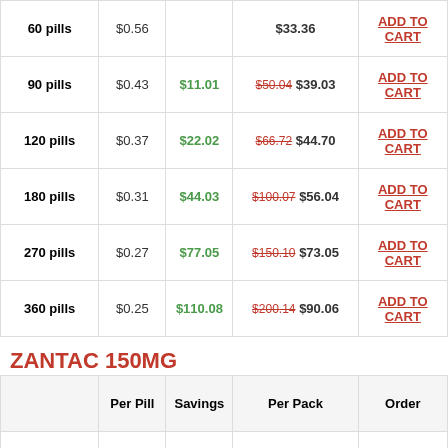|  | Per Pill | Savings | Per Pack | Order |
| --- | --- | --- | --- | --- |
| 60 pills | $0.56 |  | $33.36 | ADD TO CART |
| 90 pills | $0.43 | $11.01 | $50.04 $39.03 | ADD TO CART |
| 120 pills | $0.37 | $22.02 | $66.72 $44.70 | ADD TO CART |
| 180 pills | $0.31 | $44.03 | $100.07 $56.04 | ADD TO CART |
| 270 pills | $0.27 | $77.05 | $150.10 $73.05 | ADD TO CART |
| 360 pills | $0.25 | $110.08 | $200.14 $90.06 | ADD TO CART |
ZANTAC 150MG
|  | Per Pill | Savings | Per Pack | Order |
| --- | --- | --- | --- | --- |
| 90 pills | $0.34 |  | $30.38 | ADD TO CART |
| 120 pills | $0.28 | $7.42 | $40.50 $33.08 | ADD TO CART |